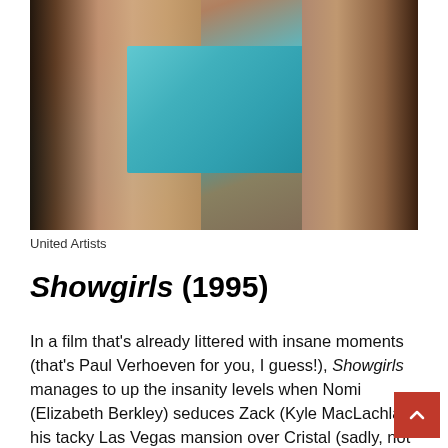[Figure (photo): Two people close together near a pool, appearing to be about to kiss. Warm skin tones with teal/blue pool water visible in the background.]
United Artists
Showgirls (1995)
In a film that's already littered with insane moments (that's Paul Verhoeven for you, I guess!), Showgirls manages to up the insanity levels when Nomi (Elizabeth Berkley) seduces Zack (Kyle MacLachlan) at his tacky Las Vegas mansion over Cristal (sadly, not Gina Gershon). For something that's supposed to be about dancing and movement, the sex between Nomi and Zack might